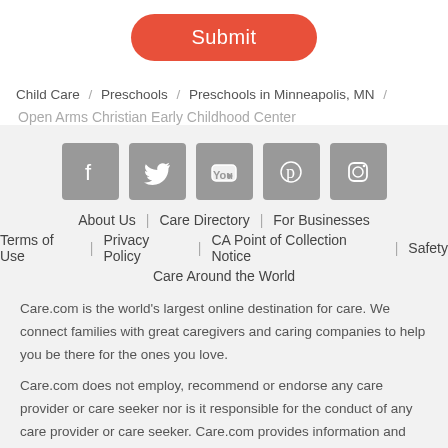[Figure (other): Red/coral rounded Submit button]
Child Care  /  Preschools  /  Preschools in Minneapolis, MN  /
Open Arms Christian Early Childhood Center
[Figure (other): Social media icons: Facebook, Twitter, YouTube, Pinterest, Instagram]
About Us  |  Care Directory  |  For Businesses
Terms of Use  |  Privacy Policy  |  CA Point of Collection Notice  |  Safety
Care Around the World
Care.com is the world's largest online destination for care. We connect families with great caregivers and caring companies to help you be there for the ones you love.
Care.com does not employ, recommend or endorse any care provider or care seeker nor is it responsible for the conduct of any care provider or care seeker. Care.com provides information and tools to help care seekers and care providers connect and